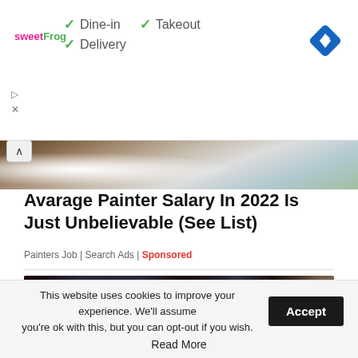[Figure (screenshot): Advertisement banner for sweetFrog showing Dine-in, Takeout, Delivery options with checkmarks and a navigation icon]
[Figure (photo): Partial photo of a painter in white protective suit near railing]
Avarage Painter Salary In 2022 Is Just Unbelievable (See List)
Painters Job | Search Ads | Sponsored
[Figure (photo): Close-up photo of microscope eyepieces, dark background with lens details]
This website uses cookies to improve your experience. We'll assume you're ok with this, but you can opt-out if you wish. Read More